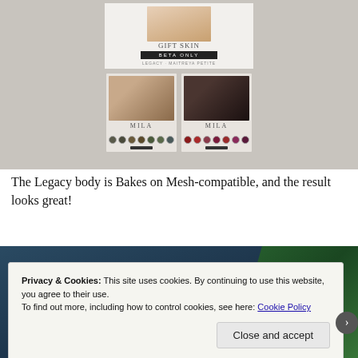[Figure (screenshot): Screenshot of a virtual world product listing showing 'GIFT SKIN BETA ONLY' banner at top with a female avatar face, and two skin product cards below labeled 'MILA' — one lighter skin tone and one darker skin tone — each showing color swatch circles.]
The Legacy body is Bakes on Mesh-compatible, and the result looks great!
[Figure (photo): A partial photo showing a dark teal/blue background with palm tree foliage in the right corner, partially obscured by the cookie consent overlay.]
Privacy & Cookies: This site uses cookies. By continuing to use this website, you agree to their use.
To find out more, including how to control cookies, see here: Cookie Policy